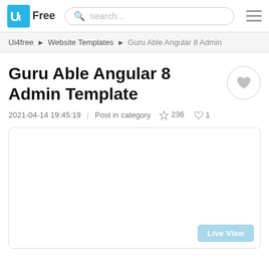Ui4Free | search... | menu
Ui4free ▶ Website Templates ▶ Guru Able Angular 8 Admin
Guru Able Angular 8 Admin Template
2021-04-14 19:45:19   Post in category   236   1
[Figure (screenshot): Empty white preview box with a light blue 'Live View' button in the bottom-right corner]